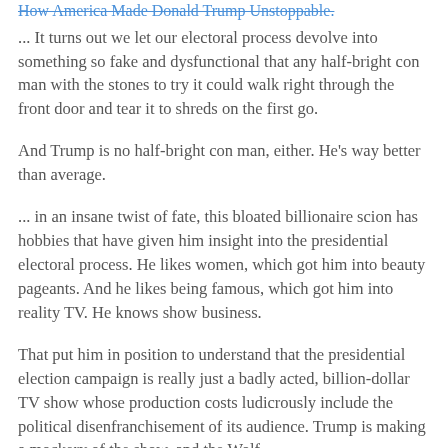How America Made Donald Trump Unstoppable.
... It turns out we let our electoral process devolve into something so fake and dysfunctional that any half-bright con man with the stones to try it could walk right through the front door and tear it to shreds on the first go.
And Trump is no half-bright con man, either. He's way better than average.
... in an insane twist of fate, this bloated billionaire scion has hobbies that have given him insight into the presidential electoral process. He likes women, which got him into beauty pageants. And he likes being famous, which got him into reality TV. He knows show business.
That put him in position to understand that the presidential election campaign is really just a badly acted, billion-dollar TV show whose production costs ludicrously include the political disenfranchisement of its audience. Trump is making a mockery of the show, and the Wolf...